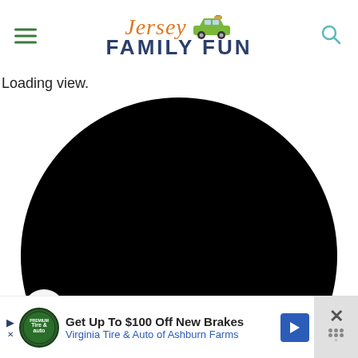[Figure (logo): Jersey Family Fun website logo with orange italic script 'Jersey', a green car illustration, and bold navy 'FAMILY FUN' text below]
Loading view.
[Figure (illustration): Large black circle (loading/map placeholder) taking up most of the lower page area, with a circular share button overlay on the left side]
[Figure (other): Advertisement banner: 'Get Up To $100 Off New Brakes - Virginia Tire & Auto of Ashburn Farms' with Tire & Auto logo, blue arrow button, and close X button]